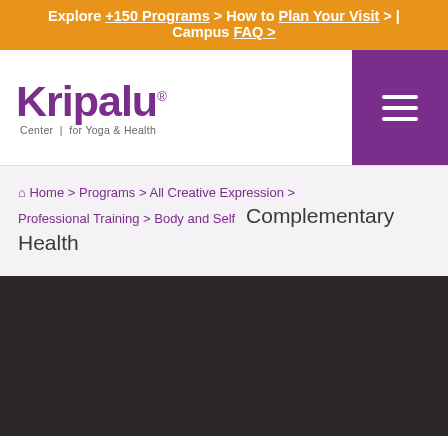Explore +150 Programs > How to Plan Your Visit > | Campus FAQ >
[Figure (logo): Kripalu Center for Yoga & Health logo with purple wordmark]
Home > Programs > All Creative Expression > Professional Training > Body and Self  Complementary Health